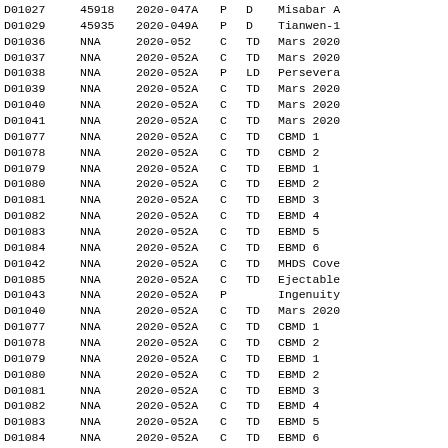| D01027 | 45918 | 2020-047A | P | D | Misabar A |
| D01029 | 45935 | 2020-049A | P | D | Tianwen-1 |
| D01036 | NNA | 2020-052 | C | TD | Mars 2020 |
| D01037 | NNA | 2020-052A | C | TD | Mars 2020 |
| D01038 | NNA | 2020-052A | P | LD | Persevera |
| D01039 | NNA | 2020-052A | C | TD | Mars 2020 |
| D01040 | NNA | 2020-052A | C | TD | Mars 2020 |
| D01041 | NNA | 2020-052A | C | TD | Mars 2020 |
| D01077 | NNA | 2020-052A | C | TD | CBMD 1 |
| D01078 | NNA | 2020-052A | C | TD | CBMD 2 |
| D01079 | NNA | 2020-052A | C | TD | EBMD 1 |
| D01080 | NNA | 2020-052A | C | TD | EBMD 2 |
| D01081 | NNA | 2020-052A | C | TD | EBMD 3 |
| D01082 | NNA | 2020-052A | C | TD | EBMD 4 |
| D01083 | NNA | 2020-052A | C | TD | EBMD 5 |
| D01084 | NNA | 2020-052A | C | TD | EBMD 6 |
| D01042 | NNA | 2020-052A | C | TD | MHDS Cove |
| D01085 | NNA | 2020-052A | C | TD | Ejectable |
| D01043 | NNA | 2020-052A | P |  | Ingenuity |
| D01040 | NNA | 2020-052A | C | TD | Mars 2020 |
| D01077 | NNA | 2020-052A | C | TD | CBMD 1 |
| D01078 | NNA | 2020-052A | C | TD | CBMD 2 |
| D01079 | NNA | 2020-052A | C | TD | EBMD 1 |
| D01080 | NNA | 2020-052A | C | TD | EBMD 2 |
| D01081 | NNA | 2020-052A | C | TD | EBMD 3 |
| D01082 | NNA | 2020-052A | C | TD | EBMD 4 |
| D01083 | NNA | 2020-052A | C | TD | EBMD 5 |
| D01084 | NNA | 2020-052A | C | TD | EBMD 6 |
| D01039 | NNA | 2020-052A | C | TD | Mars 2020 |
| D01037 | NNA | 2020-052A | C | TD | Mars 2020 |